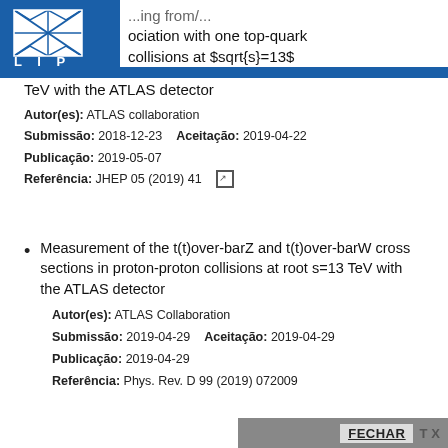[Figure (logo): LIP logo - blue background with white geometric lines forming a grid/diamond pattern, text 'L I P' below]
...ing from/... ociation with one top-quark collisions at $sqrt{s}=13$ TeV with the ATLAS detector
Autor(es): ATLAS collaboration
Submissão: 2018-12-23   Aceitação: 2019-04-22
Publicação: 2019-05-07
Referência: JHEP 05 (2019) 41
Measurement of the t(t)over-barZ and t(t)over-barW cross sections in proton-proton collisions at root s=13 TeV with the ATLAS detector
Autor(es): ATLAS Collaboration
Submissão: 2019-04-29   Aceitação: 2019-04-29
Publicação: 2019-04-29
Referência: Phys. Rev. D 99 (2019) 072009
FECHAR  T  X